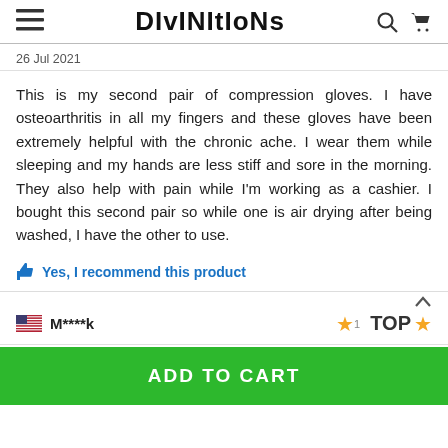DIVINITIONS
26 Jul 2021
This is my second pair of compression gloves. I have osteoarthritis in all my fingers and these gloves have been extremely helpful with the chronic ache. I wear them while sleeping and my hands are less stiff and sore in the morning. They also help with pain while I'm working as a cashier. I bought this second pair so while one is air drying after being washed, I have the other to use.
Yes, I recommend this product
M****k
TOP
ADD TO CART